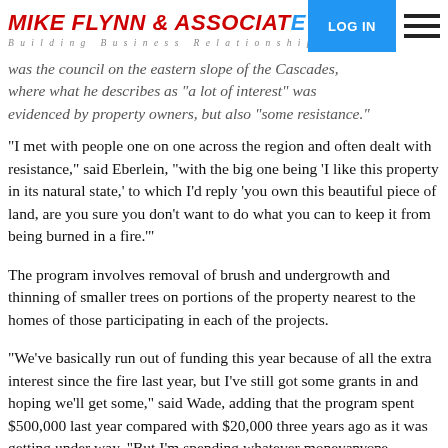MIKE FLYNN & ASSOCIATES — Building Business Relationships — LOG IN
was the council on the eastern slope of the Cascades, where what he describes as "a lot of interest" was evidenced by property owners, but also "some resistance."
"I met with people one on one across the region and often dealt with resistance," said Eberlein, "with the big one being 'I like this property in its natural state,' to which I'd reply 'you own this beautiful piece of land, are you sure you don't want to do what you can to keep it from being burned in a fire.'"
The program involves removal of brush and undergrowth and thinning of smaller trees on portions of the property nearest to the homes of those participating in each of the projects.
"We've basically run out of funding this year because of all the extra interest since the fire last year, but I've still got some grants in and hoping we'll get some," said Wade, adding that the program spent $500,000 last year compared with $20,000 three years ago as it was getting under way. "But I'm spending whatever money anyone gives me," she said.